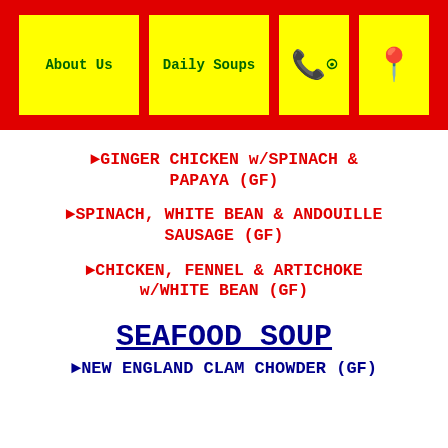About Us | Daily Soups | Phone | Location
►GINGER CHICKEN w/SPINACH & PAPAYA (GF)
►SPINACH, WHITE BEAN & ANDOUILLE SAUSAGE (GF)
►CHICKEN, FENNEL & ARTICHOKE w/WHITE BEAN (GF)
SEAFOOD SOUP
►NEW ENGLAND CLAM CHOWDER (GF)